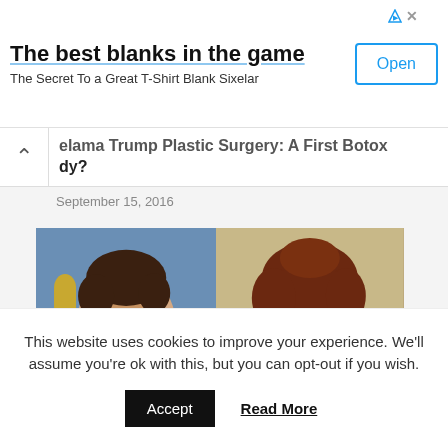[Figure (screenshot): Advertisement banner: 'The best blanks in the game' with Open button, subtitle 'The Secret To a Great T-Shirt Blank Sixelar']
elama Trump Plastic Surgery: A First Botox dy?
September 15, 2016
[Figure (photo): Side-by-side comparison photos of a woman at two different times, one holding an Oscar award]
This website uses cookies to improve your experience. We'll assume you're ok with this, but you can opt-out if you wish.
Accept   Read More